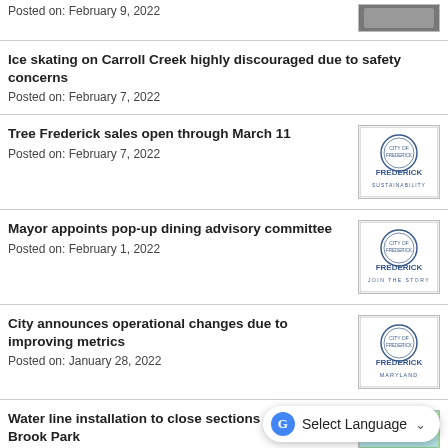Posted on: February 9, 2022
Ice skating on Carroll Creek highly discouraged due to safety concerns
Posted on: February 7, 2022
[Figure (logo): Frederick Sustainability logo with circular seal and text FREDERICK SUSTAINABILITY]
Tree Frederick sales open through March 11
Posted on: February 7, 2022
[Figure (logo): Frederick Join The Story logo with circular seal and text FREDERICK JOIN THE STORY]
Mayor appoints pop-up dining advisory committee
Posted on: February 1, 2022
[Figure (logo): Frederick Maryland logo with circular seal and text FREDERICK MARYLAND]
City announces operational changes due to improving metrics
Posted on: January 28, 2022
[Figure (photo): Partial photo of water line area, light blue/green colors]
Water line installation to close sections of Willow Brook Park
Posted on: January 25, 2022